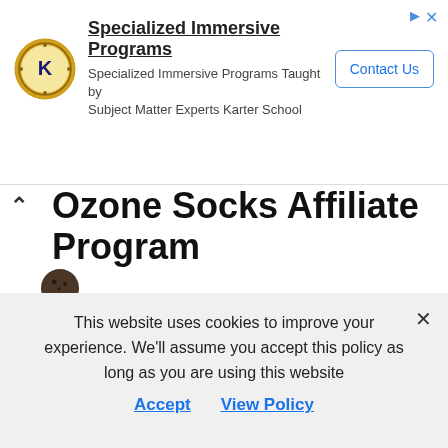[Figure (logo): Advertisement banner with Karter School logo (K in circular crest), title 'Specialized Immersive Programs', subtitle text, and Contact Us button]
Ozone Socks Affiliate Program
Commission: 6%
Tracking Cookie: 30-days
Auto-Approval: No
Join Ozone Socks Affiliate Program
This website uses cookies to improve your experience. We'll assume you accept this policy as long as you are using this website
Accept   View Policy